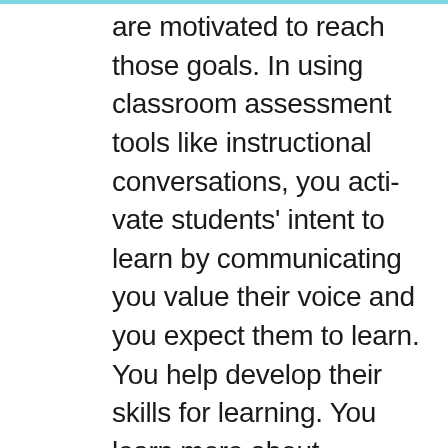are motivated to reach those goals. In using classroom assessment tools like instructional conversations, you acti-vate students' intent to learn by communicating you value their voice and you expect them to learn. You help develop their skills for learning. You learn more about students' background and skills